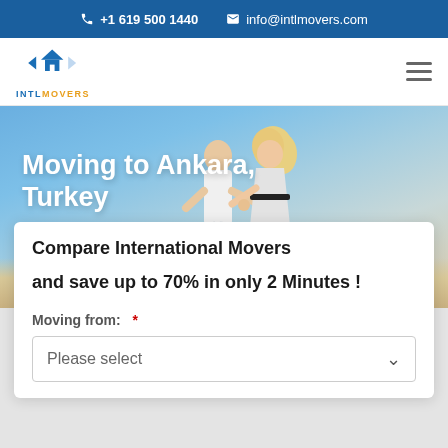+1 619 500 1440   info@intlmovers.com
[Figure (logo): INTLMOVERS logo with blue house and arrows icon, text INTLMOVERS in blue and orange]
Moving to Ankara, Turkey
[Figure (photo): Hero background photo of a couple holding hands running on a beach under blue sky]
Compare International Movers
and save up to 70% in only 2 Minutes !
Moving from: *
Please select